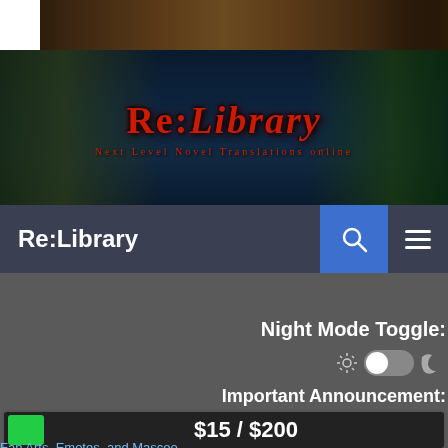[Figure (screenshot): Top dark banner with library interior background and white box in top-left corner]
[Figure (illustration): Re:Library website banner with fantasy/mystical library background, logo text 'Re:Library' in red gothic font, subtitle text below]
Re:Library
Night Mode Toggle:
Important Announcement:
$15 / $200
Fan Arts, Emotes, and Mascoo...